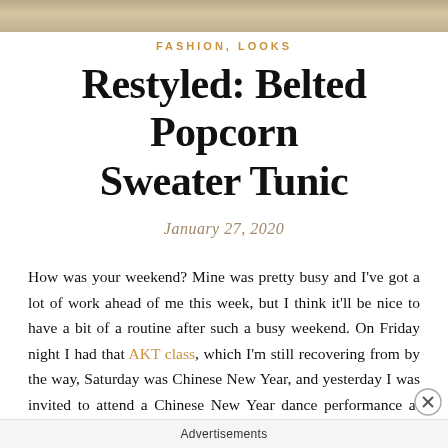[Figure (photo): Partial photo strip at top of page showing fashion/lifestyle images]
FASHION, LOOKS
Restyled: Belted Popcorn Sweater Tunic
January 27, 2020
How was your weekend? Mine was pretty busy and I've got a lot of work ahead of me this week, but I think it'll be nice to have a bit of a routine after such a busy weekend. On Friday night I had that AKT class, which I'm still recovering from by the way, Saturday was Chinese New Year, and yesterday I was invited to attend a Chinese New Year dance performance at NJPAC which I'll be writing about tomorrow! The show was great, however during intermission of the show I learned about Kobe Bryant and his daughter's tragic deaths and then it was on my min
Advertisements